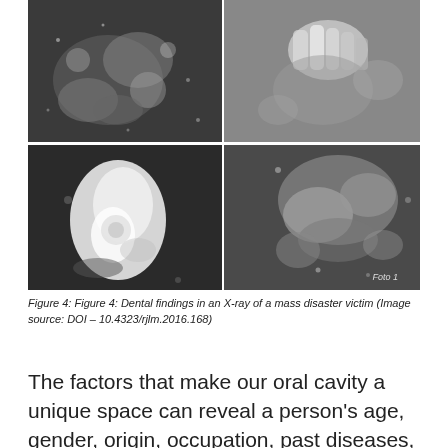[Figure (photo): A 2x2 grid of grayscale clinical/X-ray photographs showing dental findings in a mass disaster victim. Top-left: close-up of dental structures with water droplets. Top-right: dental X-ray showing teeth. Bottom-left: white dental tissue/tooth macroscopic view. Bottom-right: dental/bone tissue labeled 'Foto 1'.]
Figure 4: Figure 4: Dental findings in an X-ray of a mass disaster victim (Image source: DOI – 10.4323/rjlm.2016.168)
The factors that make our oral cavity a unique space can reveal a person's age, gender, origin, occupation, past diseases, etc.
We know that among the many anthropological characteristics